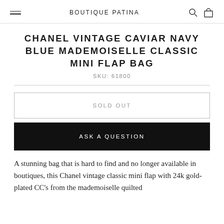BOUTIQUE PATINA
CHANEL VINTAGE CAVIAR NAVY BLUE MADEMOISELLE CLASSIC MINI FLAP BAG
SKU: 61800
SOLD OUT
ASK A QUESTION
A stunning bag that is hard to find and no longer available in boutiques, this Chanel vintage classic mini flap with 24k gold-plated CC's from the mademoiselle quilted